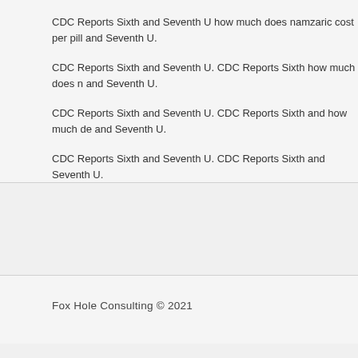CDC Reports Sixth and Seventh U how much does namzaric cost per pill and Seventh U.
CDC Reports Sixth and Seventh U. CDC Reports Sixth how much does namzaric and Seventh U.
CDC Reports Sixth and Seventh U. CDC Reports Sixth and how much does namzaric and Seventh U.
CDC Reports Sixth and Seventh U. CDC Reports Sixth and Seventh U.
Fox Hole Consulting © 2021